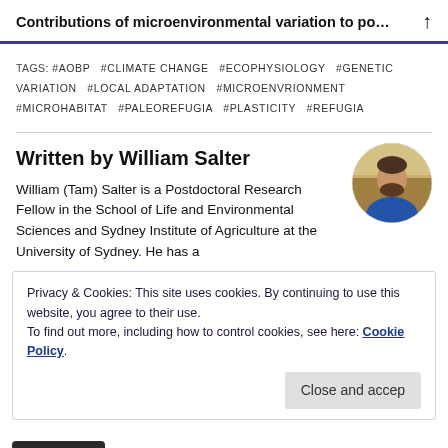Contributions of microenvironmental variation to po…
TAGS: #AOBP #CLIMATE CHANGE #ECOPHYSIOLOGY #GENETIC VARIATION #LOCAL ADAPTATION #MICROENVRIONMENT #MICROHABITAT #PALEOREFUGIA #PLASTICITY #REFUGIA
Written by William Salter
[Figure (photo): Circular profile photo of William Salter, a man with a beard wearing a blue jacket, with a natural outdoor background.]
William (Tam) Salter is a Postdoctoral Research Fellow in the School of Life and Environmental Sciences and Sydney Institute of Agriculture at the University of Sydney. He has a
Privacy & Cookies: This site uses cookies. By continuing to use this website, you agree to their use.
To find out more, including how to control cookies, see here: Cookie Policy.
Close and accep
English